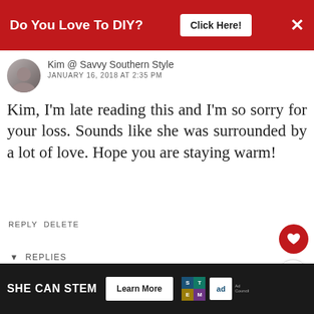[Figure (screenshot): Red top banner advertisement: 'Do You Love To DIY?' with 'Click Here!' button and X close button]
Kim @ Savvy Southern Style
JANUARY 16, 2018 AT 2:35 PM
Kim, I'm late reading this and I'm so sorry for your loss. Sounds like she was surrounded by a lot of love. Hope you are staying warm!
REPLY DELETE
▼ REPLIES
Kim
JANUARY 16, 2018 AT 6:00
Kim, thank you for the sweet note. It really does
[Figure (screenshot): Bottom advertisement banner: SHE CAN STEM with Learn More button, STEM logo grid, and Ad Council logo]